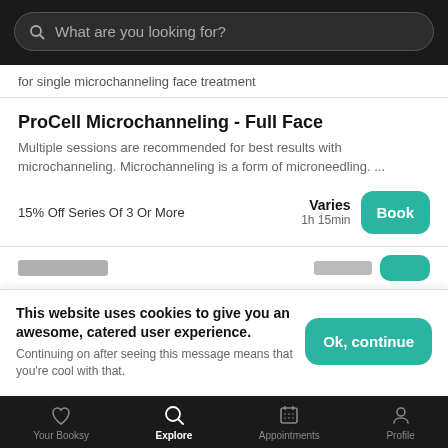What are you looking for?
for single microchanneling face treatment
ProCell Microchanneling - Full Face
Multiple sessions are recommended for best results with microchanneling. Microchanneling is a form of microneedling. ...
15% Off Series Of 3 Or More
Varies
1h 15min
This website uses cookies to give you an awesome, catered user experience. Continuing on after seeing this message means that you're cool with that.
Your Booksy  Explore  Appointments  Profile